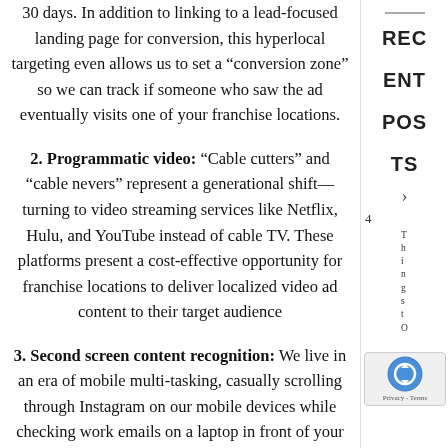30 days. In addition to linking to a lead-focused landing page for conversion, this hyperlocal targeting even allows us to set a “conversion zone” so we can track if someone who saw the ad eventually visits one of your franchise locations.
2. Programmatic video: “Cable cutters” and “cable nevers” represent a generational shift—turning to video streaming services like Netflix, Hulu, and YouTube instead of cable TV. These platforms present a cost-effective opportunity for franchise locations to deliver localized video ad content to their target audience
3. Second screen content recognition: We live in an era of mobile multi-tasking, casually scrolling through Instagram on our mobile devices while checking work emails on a laptop in front of your TV. Ads can be served to a smart phone based on recognition of content being watched on a separate TV screen. While it may be overly expensive and impossible to